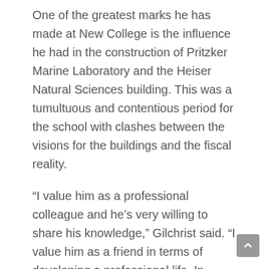One of the greatest marks he has made at New College is the influence he had in the construction of Pritzker Marine Laboratory and the Heiser Natural Sciences building. This was a tumultuous and contentious period for the school with clashes between the visions for the buildings and the fiscal reality.
“I value him as a professional colleague and he’s very willing to share his knowledge,” Gilchrist said. “I value him as a friend in terms of developing a professional life. In terms of teaching he’s done a lot with trying to help students understand the research education world and so that’s been interesting for me to observe.”
Dr. Demski is a graduate of the University of Miami in Ohio, and received his doctorate degree from the University of Rochester in New York. He met Dr. Alfred...